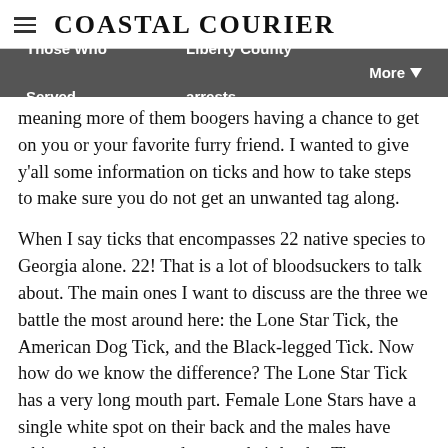Coastal Courier
Those Who Served | Liberty County arrests | More
meaning more of them boogers having a chance to get on you or your favorite furry friend. I wanted to give y'all some information on ticks and how to take steps to make sure you do not get an unwanted tag along.
When I say ticks that encompasses 22 native species to Georgia alone. 22! That is a lot of bloodsuckers to talk about. The main ones I want to discuss are the three we battle the most around here: the Lone Star Tick, the American Dog Tick, and the Black-legged Tick. Now how do we know the difference? The Lone Star Tick has a very long mouth part. Female Lone Stars have a single white spot on their back and the males have white markings spread out on their backs. These are most common in bushy and brushy areas where